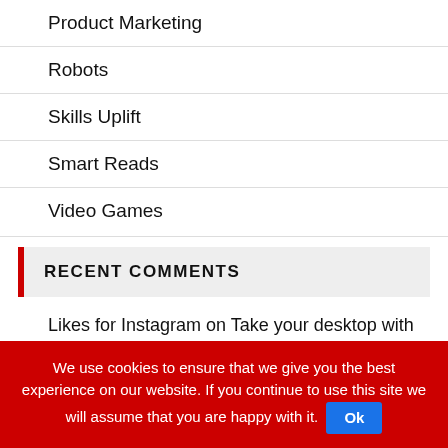Product Marketing
Robots
Skills Uplift
Smart Reads
Video Games
RECENT COMMENTS
Likes for Instagram on Take your desktop with you but not your PC
click this site on Take your desktop with you but not your PC
Free Instagram Followers Trial on Take your desktop with you but not your PC
We use cookies to ensure that we give you the best experience on our website. If you continue to use this site we will assume that you are happy with it. Ok